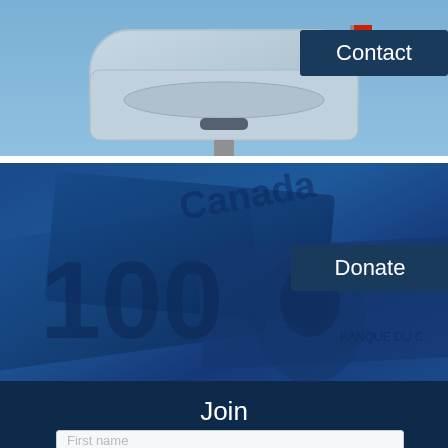[Figure (photo): Photo of a metal mailbox against a blue sky, with a dark blue 'Contact' button overlay in the center]
[Figure (photo): Photo of Canadian $100 bills with a blue tone overlay, with a dark blue 'Donate' button overlay in the center]
Join
First name